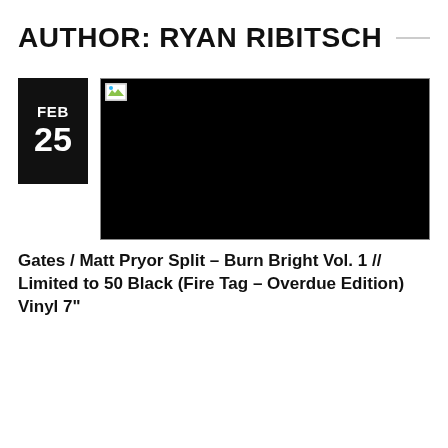AUTHOR: RYAN RIBITSCH
[Figure (photo): Black image placeholder with broken image icon in top-left corner]
Gates / Matt Pryor Split – Burn Bright Vol. 1 // Limited to 50 Black (Fire Tag – Overdue Edition) Vinyl 7"